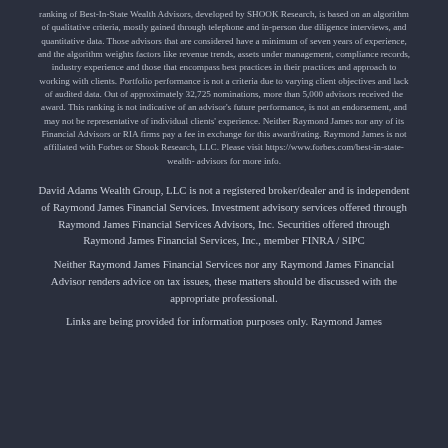ranking of Best-In-State Wealth Advisors, developed by SHOOK Research, is based on an algorithm of qualitative criteria, mostly gained through telephone and in-person due diligence interviews, and quantitative data. Those advisors that are considered have a minimum of seven years of experience, and the algorithm weights factors like revenue trends, assets under management, compliance records, industry experience and those that encompass best practices in their practices and approach to working with clients. Portfolio performance is not a criteria due to varying client objectives and lack of audited data. Out of approximately 32,725 nominations, more than 5,000 advisors received the award. This ranking is not indicative of an advisor's future performance, is not an endorsement, and may not be representative of individual clients' experience. Neither Raymond James nor any of its Financial Advisors or RIA firms pay a fee in exchange for this award/rating. Raymond James is not affiliated with Forbes or Shook Research, LLC. Please visit https://www.forbes.com/best-in-state-wealth-advisors for more info.
David Adams Wealth Group, LLC is not a registered broker/dealer and is independent of Raymond James Financial Services. Investment advisory services offered through Raymond James Financial Services Advisors, Inc. Securities offered through Raymond James Financial Services, Inc., member FINRA / SIPC
Neither Raymond James Financial Services nor any Raymond James Financial Advisor renders advice on tax issues, these matters should be discussed with the appropriate professional.
Links are being provided for information purposes only. Raymond James